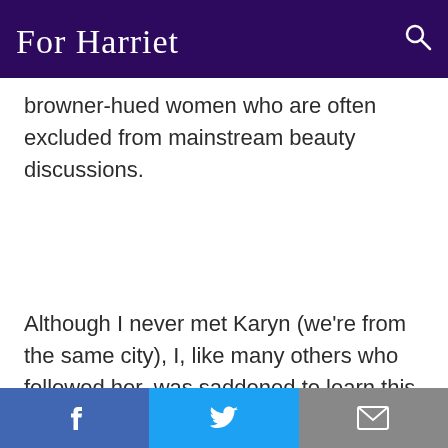For Harriet
browner-hued women who are often excluded from mainstream beauty discussions.
Although I never met Karyn (we're from the same city), I, like many others who followed her, was saddened to learn this morning of her apparent suicide. It's amazing the
Facebook | Twitter | Email